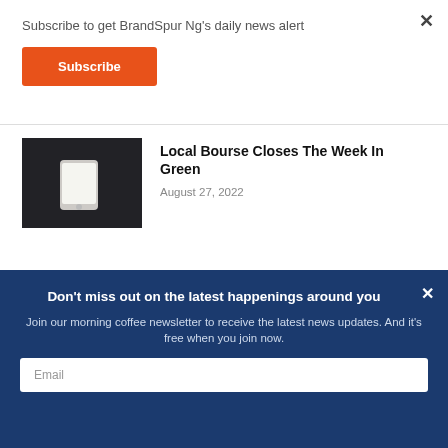Subscribe to get BrandSpur Ng's daily news alert
Subscribe
Local Bourse Closes The Week In Green
August 27, 2022
[Figure (photo): A smartphone laying on a dark surface, screen lit white]
Don't miss out on the latest happenings around you
Join our morning coffee newsletter to receive the latest news updates. And it's free when you join now.
Email